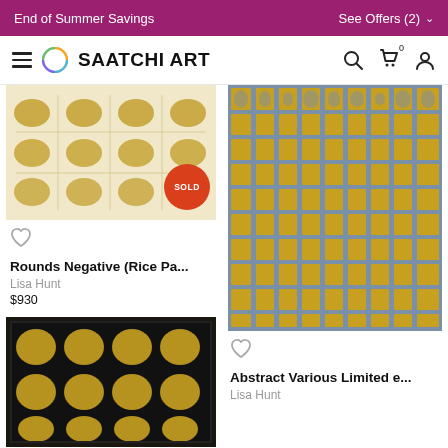End of Summer Savings | See Offers (2)
SAATCHI ART
[Figure (photo): Artwork 'Rounds Negative (Rice Pa...)' by Lisa Hunt, shown with SOLD badge. Abstract print with gold circular forms on light background.]
Rounds Negative (Rice Pa...
Lisa Hunt
$930
[Figure (photo): Artwork 'Abstract Various Limited e...' by Lisa Hunt. Gold abstract foliage/animal forms on blue-grey grid background.]
Abstract Various Limited e...
Lisa Hunt
[Figure (photo): Bottom left artwork: gold abstract forms on black grid background.]